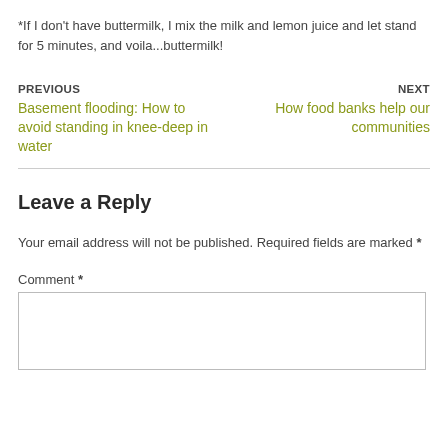*If I don't have buttermilk, I mix the milk and lemon juice and let stand for 5 minutes, and voila...buttermilk!
PREVIOUS
Basement flooding: How to avoid standing in knee-deep in water
NEXT
How food banks help our communities
Leave a Reply
Your email address will not be published. Required fields are marked *
Comment *